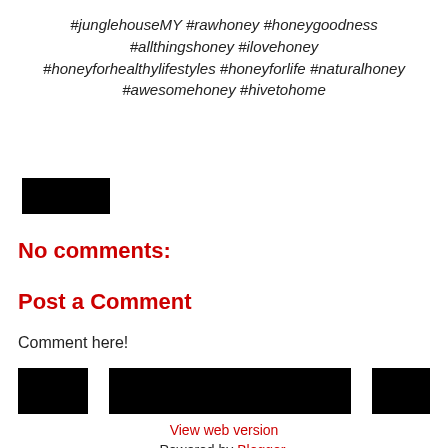#junglehouseMY #rawhoney #honeygoodness #allthingshoney #ilovehoney #honeyforhealthylifestyles #honeyforlife #naturalhoney #awesomehoney #hivetohome
[Figure (other): Black redacted rectangle]
No comments:
Post a Comment
Comment here!
[Figure (other): Three black redacted rectangles in a row (small, wide, small)]
View web version
Powered by Blogger.